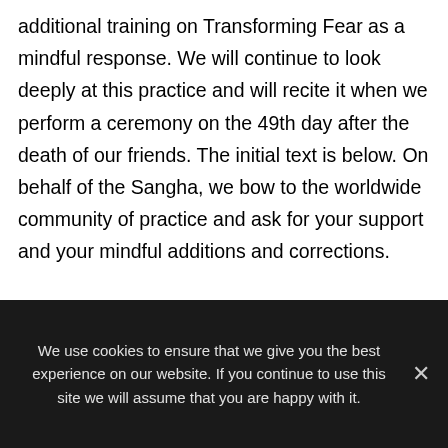additional training on Transforming Fear as a mindful response. We will continue to look deeply at this practice and will recite it when we perform a ceremony on the 49th day after the death of our friends. The initial text is below. On behalf of the Sangha, we bow to the worldwide community of practice and ask for your support and your mindful additions and corrections.
We use cookies to ensure that we give you the best experience on our website. If you continue to use this site we will assume that you are happy with it.